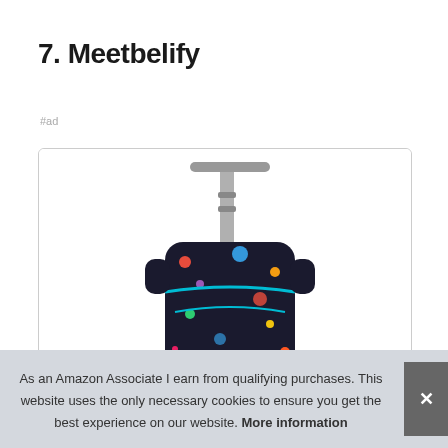7. Meetbelify
#ad
[Figure (photo): A rolling kids backpack with a retractable handle, space/planet themed colorful print on dark background, shown from the top/front angle]
As an Amazon Associate I earn from qualifying purchases. This website uses the only necessary cookies to ensure you get the best experience on our website. More information